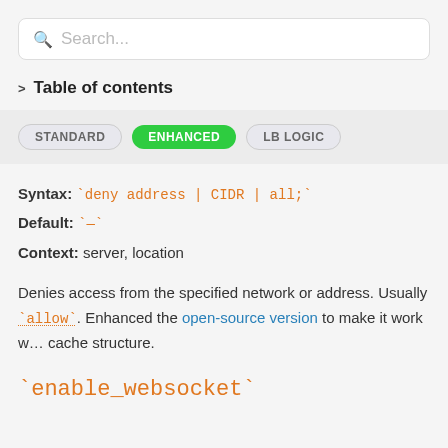Search...
> Table of contents
STANDARD | ENHANCED | LB LOGIC
Syntax: `deny address | CIDR | all;`
Default: `—`
Context: server, location
Denies access from the specified network or address. Usually `allow`. Enhanced the open-source version to make it work with cache structure.
`enable_websocket`